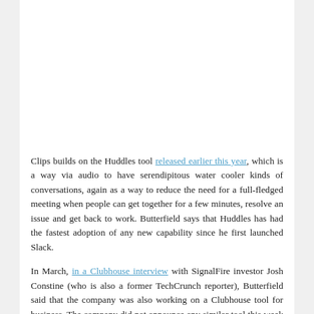Clips builds on the Huddles tool released earlier this year, which is a way via audio to have serendipitous water cooler kinds of conversations, again as a way to reduce the need for a full-fledged meeting when people can get together for a few minutes, resolve an issue and get back to work. Butterfield says that Huddles has had the fastest adoption of any new capability since he first launched Slack.
In March, in a Clubhouse interview with SignalFire investor Josh Constine (who is also a former TechCrunch reporter), Butterfield said that the company was also working on a Clubhouse tool for business. The company did not announce any similar tool this week though.
The company also announced 16 integrations with Salesforce that span the entire Salesforce platform. These include the sales-focussed deal room and the customer support incident response called swarms announced earlier this month, as well as new connections to other tools in the Salesforce family of product including Mulesoft and Tableau and industry-specific integrations for banking, life sciences and philanthropy.
In case you had forgotten, Salesforce bought Slack at the end of last year in a mega deal worth almost $28 billion. Today, as part of the CRM giant, the